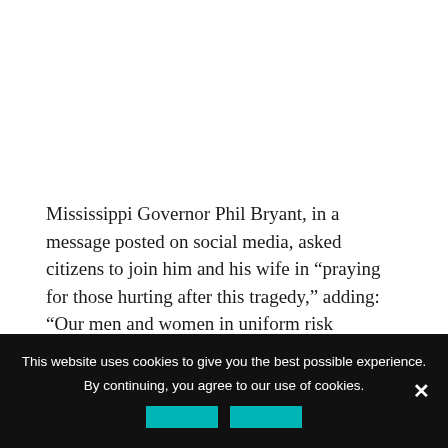Mississippi Governor Phil Bryant, in a message posted on social media, asked citizens to join him and his wife in “praying for those hurting after this tragedy,” adding: “Our men and women in uniform risk themselves every day to secure our freedom.”
Monday’s crash is the deadliest aviation disaster in the United States since February 2009, when Colgan Air
This website uses cookies to give you the best possible experience. By continuing, you agree to our use of cookies.